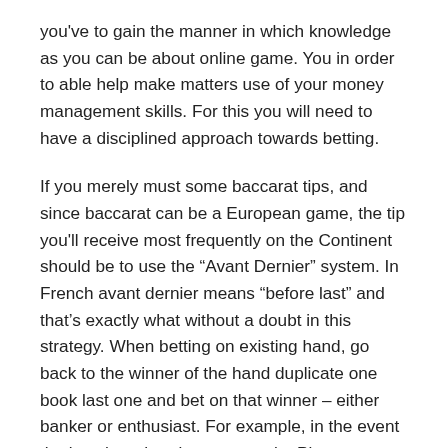you've to gain the manner in which knowledge as you can be about online game. You in order to able help make matters use of your money management skills. For this you will need to have a disciplined approach towards betting.
If you merely must some baccarat tips, and since baccarat can be a European game, the tip you'll receive most frequently on the Continent should be to use the “Avant Dernier” system. In French avant dernier means “before last” and that’s exactly what without a doubt in this strategy. When betting on existing hand, go back to the winner of the hand duplicate one book last one and bet on that winner – either banker or enthusiast. For example, in the event the last three hands were won by Player, Banker, and Player you would look to the hand before last and place your bet on Banker.
If tend not to know the way to play with card counting in